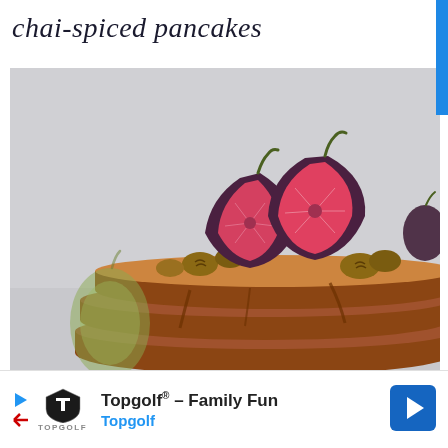chai-spiced pancakes
[Figure (photo): Stack of chai-spiced pancakes topped with sliced fresh figs and walnuts, drizzled with syrup, with a blurred green fig in the background, against a light grey backdrop.]
[Figure (infographic): Advertisement banner for Topgolf showing Topgolf logo, the text 'Topgolf® - Family Fun' and 'Topgolf' in blue, with a blue navigation arrow icon on the right.]